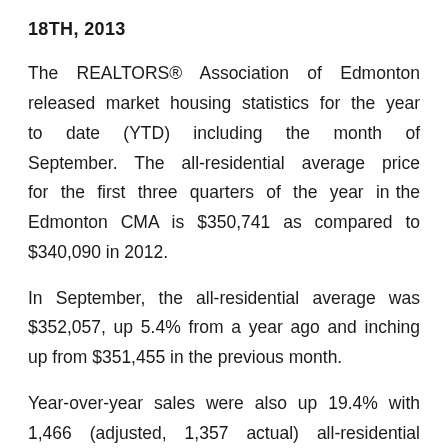18TH, 2013
The REALTORS® Association of Edmonton released market housing statistics for the year to date (YTD) including the month of September. The all-residential average price for the first three quarters of the year in the Edmonton CMA is $350,741 as compared to $340,090 in 2012.
In September, the all-residential average was $352,057, up 5.4% from a year ago and inching up from $351,455 in the previous month.
Year-over-year sales were also up 19.4% with 1,466 (adjusted, 1,357 actual) all-residential sales in September. The average was 12,321